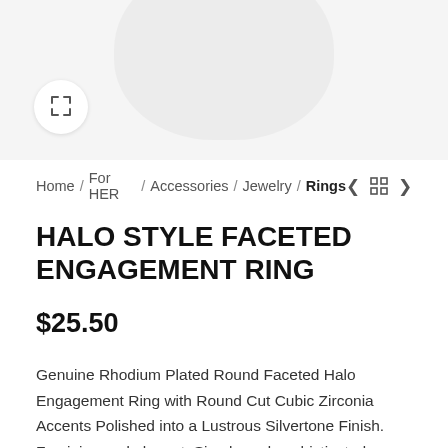[Figure (photo): Product image area showing partial ring silhouette with expand/zoom button in bottom-left corner of image area]
Home / For HER / Accessories / Jewelry / Rings
HALO STYLE FACETED ENGAGEMENT RING
$25.50
Genuine Rhodium Plated Round Faceted Halo Engagement Ring with Round Cut Cubic Zirconia Accents Polished into a Lustrous Silvertone Finish. Feminine and elegant. Simple and sophisticated. Fashioned in an elegant cubic zirconia this elegant halo style would be adored by any woman. Our genuine rhodium finish is achieved using an electroplating process that coats the item with heavy layers of rhodium a close cousin of platinum that costs three times as much which gives our jewelry a platinum